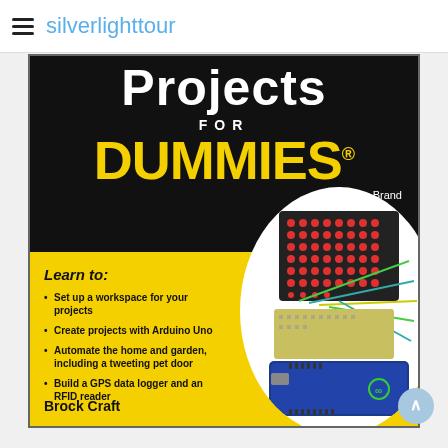silverlighttour
[Figure (photo): Book cover of 'Arduino Projects For Dummies' by Brock Craft, A Wiley Brand. Black and yellow cover showing title text, 'Learn to:' bullet points, and an Arduino Uno board with LED matrix and wires.]
Projects FOR DUMMIES
A Wiley Brand
Set up a workspace for your projects
Create projects with Arduino Uno
Automate the home and garden, including a tweeting pet door
Build a GPS data logger and an RFID reader
Brock Craft